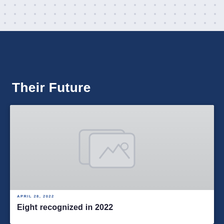[Figure (other): Dot pattern decorative background in light gray/white with repeating small dots arranged in a grid]
Their Future
[Figure (photo): Placeholder image with gray gradient background and image icon (stacked photo frames with mountain/landscape symbol)]
APRIL 28, 2022
Eight recognized in 2022